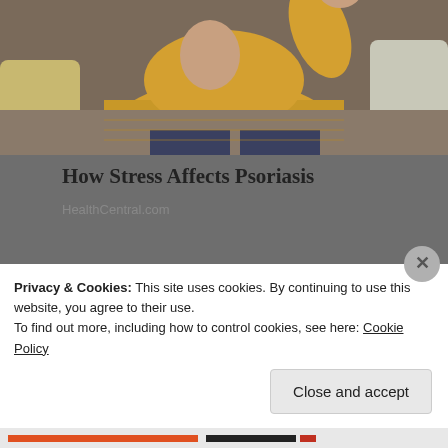[Figure (photo): Partial photo of a person in a yellow sweater, cropped at top]
How Stress Affects Psoriasis
HealthCentral.com
[Figure (photo): Collage of two women with stylish hair, fashion related]
Embarrassing Fashion Trends Boomers Won't Give Up
Bon Voyaged
[Figure (photo): Partial photo of Terrell Owens with a cap]
Terrell Owens finds out the hard way that his...
Privacy & Cookies: This site uses cookies. By continuing to use this website, you agree to their use.
To find out more, including how to control cookies, see here: Cookie Policy
Close and accept